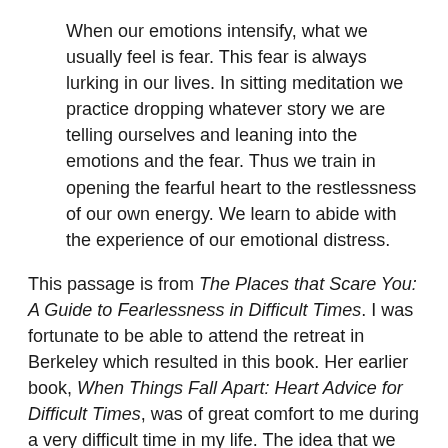When our emotions intensify, what we usually feel is fear. This fear is always lurking in our lives. In sitting meditation we practice dropping whatever story we are telling ourselves and leaning into the emotions and the fear. Thus we train in opening the fearful heart to the restlessness of our own energy. We learn to abide with the experience of our emotional distress.
This passage is from The Places that Scare You: A Guide to Fearlessness in Difficult Times. I was fortunate to be able to attend the retreat in Berkeley which resulted in this book. Her earlier book, When Things Fall Apart: Heart Advice for Difficult Times, was of great comfort to me during a very difficult time in my life. The idea that we must "lean into" pain is counterintuitive. But, as physiotherapists know, non-resistance can often lessen muscular pain. It works for the emotions as well.
I'm not trying to propose an either/or kind of solution. But it seems that by becoming enlightened we may have to give